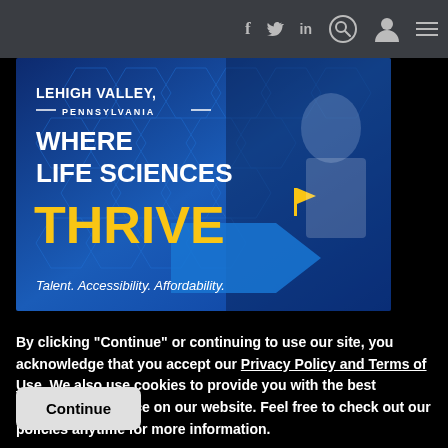Navigation bar with social icons: f, Twitter, in, search, user, menu
[Figure (illustration): Lehigh Valley, Pennsylvania — Where Life Sciences Thrive. Talent. Accessibility. Affordability. Blue background with hexagonal pattern, scientist in lab coat, yellow flag icon and arrow graphic.]
By clicking "Continue" or continuing to use our site, you acknowledge that you accept our Privacy Policy and Terms of Use. We also use cookies to provide you with the best possible experience on our website. Feel free to check out our policies anytime for more information.